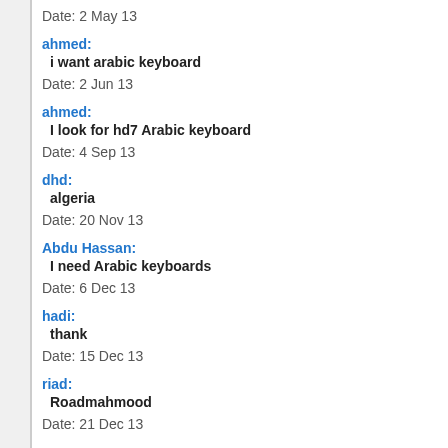Date: 2 May 13
ahmed:
i want arabic keyboard
Date: 2 Jun 13
ahmed:
I look for hd7 Arabic keyboard
Date: 4 Sep 13
dhd:
algeria
Date: 20 Nov 13
Abdu Hassan:
I need Arabic keyboards
Date: 6 Dec 13
hadi:
thank
Date: 15 Dec 13
riad:
Roadmahmood
Date: 21 Dec 13